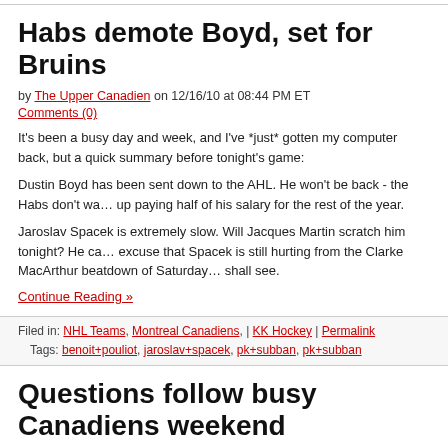Habs demote Boyd, set for Bruins
by The Upper Canadien on 12/16/10 at 08:44 PM ET
Comments (0)
It's been a busy day and week, and I've *just* gotten my computer back, but a quick summary before tonight's game:
Dustin Boyd has been sent down to the AHL. He won't be back - the Habs don't wa… up paying half of his salary for the rest of the year.
Jaroslav Spacek is extremely slow. Will Jacques Martin scratch him tonight? He ca… excuse that Spacek is still hurting from the Clarke MacArthur beatdown of Saturda… shall see.
Continue Reading »
Filed in: NHL Teams, Montreal Canadiens, | KK Hockey | Permalink
Tags: benoit+pouliot, jaroslav+spacek, pk+subban, pk+subban
Questions follow busy Canadiens weekend
by The Upper Canadien on 11/07/10 at 09:14 PM ET
Comments (4)
A great effort Friday night by the newly christened PhD line (Mathieu Darche and J… Halpern both have university degrees) resulted in two goals for Benoit Pouliot and…